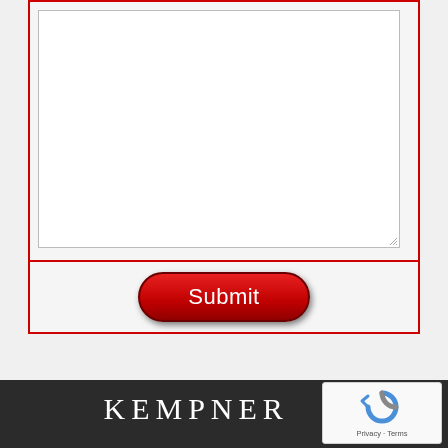[Figure (screenshot): A web form text area (empty white input box) inside a red-bordered container, with a red Submit button below it.]
KEMPNER
[Figure (other): reCAPTCHA widget showing the recaptcha logo with Privacy and Terms links.]